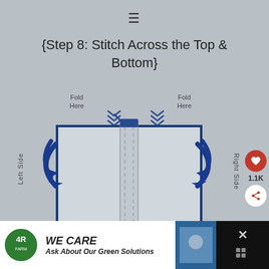{Step 8: Stitch Across the Top & Bottom}
[Figure (schematic): Sewing diagram showing a rectangular fabric piece with a center seam/fold running vertically. 'Fold Here' labels with downward arrows at top-left and top-right corners. Blue circular arrows on left and right sides indicating rolling/folding direction. 'Left Side' label on left, 'Right Side' label on right.]
[Figure (other): Social media interaction buttons: heart/like button (red circle with heart icon) showing count 1.1K, and a share button (white circle with share icon).]
[Figure (other): Advertisement banner: '4R' logo on left, bold italic text 'WE CARE Ask About Our Green Solutions', blue image panel on right, with a close X button on the far right.]